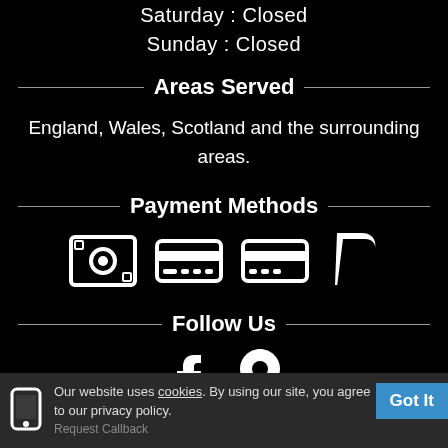Saturday : Closed
Sunday : Closed
Areas Served
England, Wales, Scotland and the surrounding areas.
Payment Methods
[Figure (illustration): Four white payment method icons: cash/money, credit card, credit card, PayPal logo]
Follow Us
[Figure (illustration): Two white social icons: Facebook 'f' logo and a map pin/location icon]
Our website uses cookies. By using our site, you agree to our privacy policy.
Request Callback
Got It